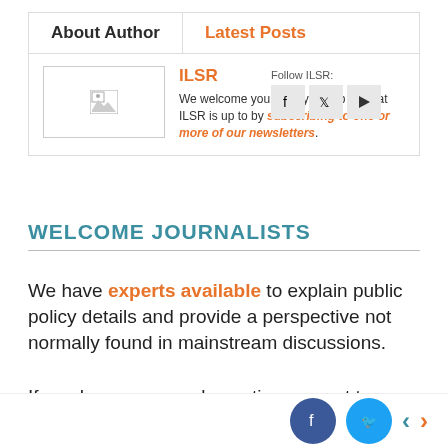About Author | Latest Posts
[Figure (other): Author profile image placeholder (broken image icon)]
ILSR
We welcome you to stay on top of what ILSR is up to by subscribing to one or more of our newsletters.
[Figure (other): Social media follow icons for Facebook, Twitter, and YouTube]
WELCOME JOURNALISTS
We have experts available to explain public policy details and provide a perspective not normally found in mainstream discussions.
If you have a general question or want to arrange an interview please contact ILSR Communications
[Figure (other): Bottom social share bar with Facebook and Twitter circle buttons and left/right navigation arrows]